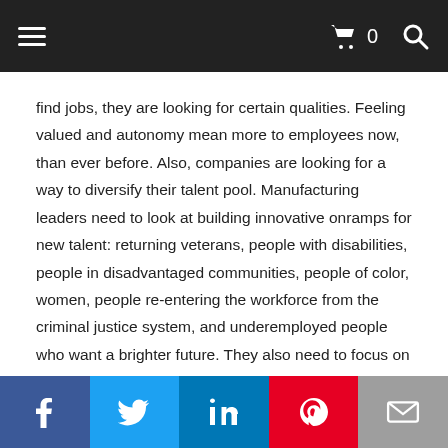Navigation bar with hamburger menu, cart icon with count 0, and search icon
find jobs, they are looking for certain qualities. Feeling valued and autonomy mean more to employees now, than ever before. Also, companies are looking for a way to diversify their talent pool. Manufacturing leaders need to look at building innovative onramps for new talent: returning veterans, people with disabilities, people in disadvantaged communities, people of color, women, people re-entering the workforce from the criminal justice system, and underemployed people who want a brighter future. They also need to focus on training. To retain employees coming in they need to be well trained and know they can train to move up in companies. But they can't forget the employees they already have Vistage reports 61% of manufacturing leaders are focusing on developing their existing workforce.
Social share bar: Facebook, Twitter, LinkedIn, Pinterest, Email